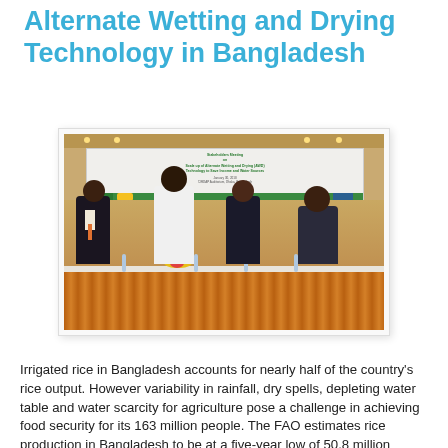Alternate Wetting and Drying Technology in Bangladesh
[Figure (photo): A panel of four people seated at a conference table with gold/orange tablecloth, in front of a banner related to Alternate Wetting and Drying (AWD) technology. Flowers and water bottles are on the table.]
Irrigated rice in Bangladesh accounts for nearly half of the country's rice output. However variability in rainfall, dry spells, depleting water table and water scarcity for agriculture pose a challenge in achieving food security for its 163 million people. The FAO estimates rice production in Bangladesh to be at a five-year low of 50.8 million tonnes in 2017. Compared to the 2016 output. This was partly